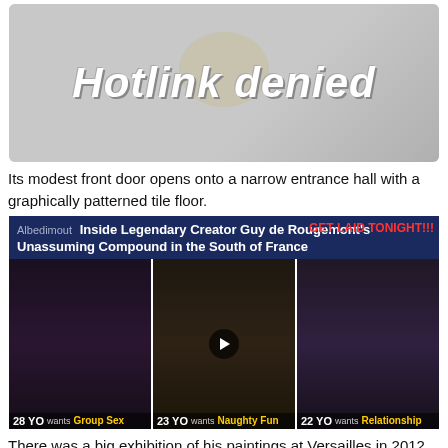[Figure (screenshot): Hotlink denied placeholder image with cartoon graphic and bold italic text reading 'Hotlink denied', with a play button icon at top center]
Its modest front door opens onto a narrow entrance hall with a graphically patterned tile floor.
[Figure (screenshot): Ad banner with dark blue background showing article title 'Inside Legendary Creator Guy de Rougemont's Unassuming Compound in the South of France' overlaid with 'GET LAID TONIGHT!!!' text in red, and three adult dating ad images below showing women with age and relationship desire labels: '28 YO wants Group Sex', '23 YO wants Naughty Fun', '22 YO wants Relationship']
There was a big exhibition of his paintings at Versailles in 2012.